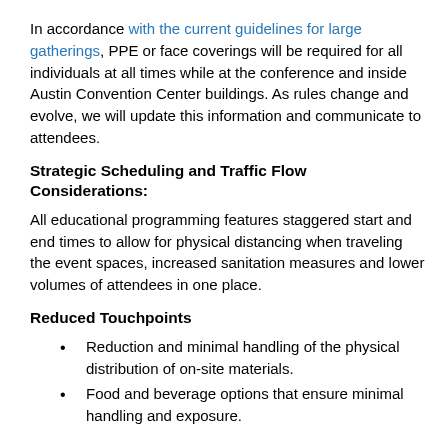In accordance with the current guidelines for large gatherings, PPE or face coverings will be required for all individuals at all times while at the conference and inside Austin Convention Center buildings. As rules change and evolve, we will update this information and communicate to attendees.
Strategic Scheduling and Traffic Flow Considerations:
All educational programming features staggered start and end times to allow for physical distancing when traveling the event spaces, increased sanitation measures and lower volumes of attendees in one place.
Reduced Touchpoints
Reduction and minimal handling of the physical distribution of on-site materials.
Food and beverage options that ensure minimal handling and exposure.